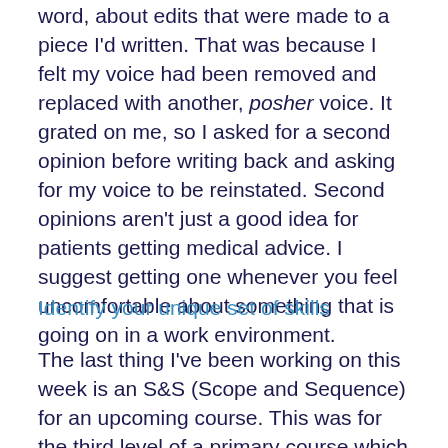word, about edits that were made to a piece I'd written. That was because I felt my voice had been removed and replaced with another, posher voice. It grated on me, so I asked for a second opinion before writing back and asking for my voice to be reinstated. Second opinions aren't just a good idea for patients getting medical advice. I suggest getting one whenever you feel uncomfortable about something that is going on in a work environment.
Identify your unique set of skills
The last thing I've been working on this week is an S&S (Scope and Sequence) for an upcoming course. This was for the third level of a primary course which follows on from two that are already done and dusted.  It wasn't until quite recently that I discovered I'd developed the skills need to write a good S&S. I'd